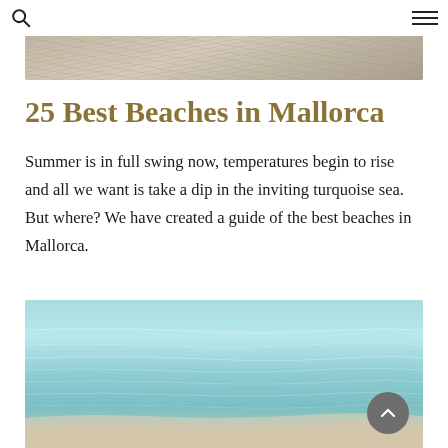Search and menu navigation icons
[Figure (photo): Aerial or close-up view of sandy beach with wave texture patterns — grey-tan sand with natural ripple markings]
25 Best Beaches in Mallorca
Summer is in full swing now, temperatures begin to rise and all we want is take a dip in the inviting turquoise sea. But where? We have created a guide of the best beaches in Mallorca.
[Figure (photo): Aerial view of shallow turquoise sea water meeting sandy beach shore with gentle wave patterns]